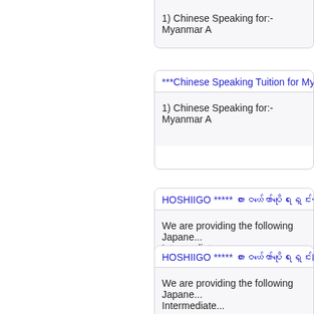1) Chinese Speaking for:- Myanmar A
***Chinese Speaking Tuition for Myan...
1) Chinese Speaking for:- Myanmar A
HOSHIIGO ***** ထားဝယ်ကော်ပိုရေးရှင်း...
We are providing the following Japane... Intermediate...
HOSHIIGO ***** ထားဝယ်ကော်ပိုရေးရှင်း...
We are providing the following Japane... Intermediate...